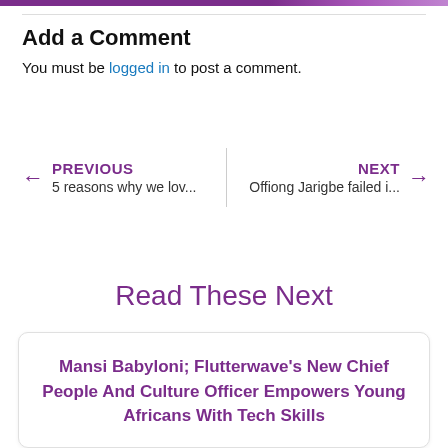Add a Comment
You must be logged in to post a comment.
← PREVIOUS
5 reasons why we lov...
NEXT →
Offiong Jarigbe failed i...
Read These Next
Mansi Babyloni; Flutterwave's New Chief People And Culture Officer Empowers Young Africans With Tech Skills